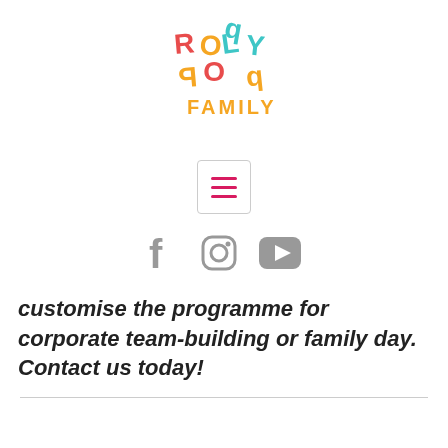[Figure (logo): Roly Poly Family logo with colourful letters, some flipped/rotated, and the word FAMILY in orange below]
[Figure (other): Hamburger menu button icon (three horizontal red lines in a rounded square border)]
[Figure (other): Social media icons: Facebook (f), Instagram (camera), YouTube (play button) in grey]
customise the programme for corporate team-building or family day. Contact us today!